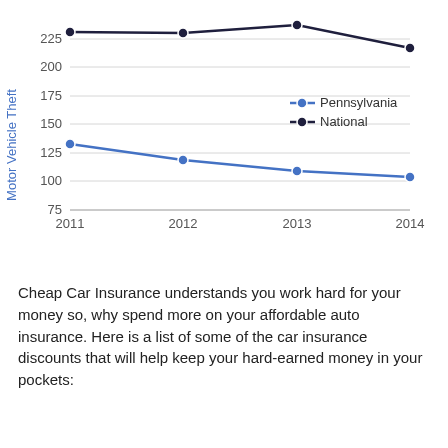[Figure (line-chart): ]
Cheap Car Insurance understands you work hard for your money so, why spend more on your affordable auto insurance. Here is a list of some of the car insurance discounts that will help keep your hard-earned money in your pockets: